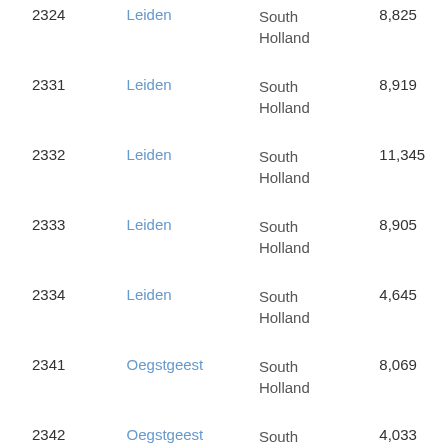| Code | City | Province | Population |
| --- | --- | --- | --- |
| 2324 | Leiden | South Holland | 8,825 |
| 2331 | Leiden | South Holland | 8,919 |
| 2332 | Leiden | South Holland | 11,345 |
| 2333 | Leiden | South Holland | 8,905 |
| 2334 | Leiden | South Holland | 4,645 |
| 2341 | Oegstgeest | South Holland | 8,069 |
| 2342 | Oegstgeest | South Holland | 4,033 |
| 2343 | Oegstgeest | South Holland | 10,140 |